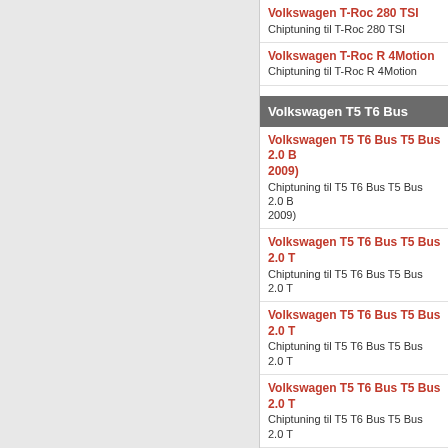Volkswagen T-Roc 280 TSI
Chiptuning til T-Roc 280 TSI
Volkswagen T-Roc R 4Motion
Chiptuning til T-Roc R 4Motion
Volkswagen T5 T6 Bus
Volkswagen T5 T6 Bus T5 Bus 2.0 B 2009)
Chiptuning til T5 T6 Bus T5 Bus 2.0 B 2009)
Volkswagen T5 T6 Bus T5 Bus 2.0 T
Chiptuning til T5 T6 Bus T5 Bus 2.0 T
Volkswagen T5 T6 Bus T5 Bus 2.0 T
Chiptuning til T5 T6 Bus T5 Bus 2.0 T
Volkswagen T5 T6 Bus T5 Bus 2.0 T
Chiptuning til T5 T6 Bus T5 Bus 2.0 T
Volkswagen T5 T6 Bus T5 Bus 2.0 T
Chiptuning til T5 T6 Bus T5 Bus 2.0 T
Volkswagen T5 T6 Bus T5 Bus 2.0 T
Chiptuning til T5 T6 Bus T5 Bus 2.0 T
Volkswagen T5 T6 Bus T5 Bus 2.0 T
Chiptuning til T5 T6 Bus T5 Bus 2.0 T
Volkswagen T5 T6 Bus T5 Bus 2.0 T 2009)
Chiptuning til T5 T6 Bus T5 Bus 2.0 T 2009)
Volkswagen T5 T6 Bus T5 Bus 2.0 T 2009)
Chiptuning til T5 T6 Bus T5 Bus 2.0 T 2009)